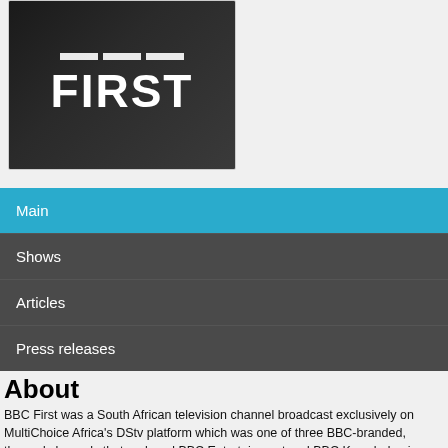[Figure (logo): BBC First logo — white bold text 'FIRST' on dark gradient background]
Main
Shows
Articles
Press releases
About
BBC First was a South African television channel broadcast exclusively on MultiChoice Africa's DStv platform which was one of three BBC-branded, themed channels that replaced BBC Entertainment and BBC Knowledge in September/October 2015.
The channel positioned itself as "the home of premium, original British drama".